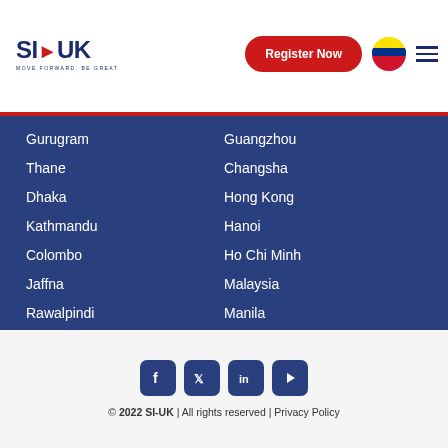SI-UK — Register Now — Colombia flag — hamburger menu
Gurugram
Thane
Dhaka
Kathmandu
Colombo
Jaffna
Rawalpindi
Karachi
Lahore
Peshawar
Kathmandu
Dhaka
Colombo
Guangzhou
Changsha
Hong Kong
Hanoi
Ho Chi Minh
Malaysia
Manila
Taipei
Jakarta
Vientiane
© 2022 SI-UK | All rights reserved | Privacy Policy